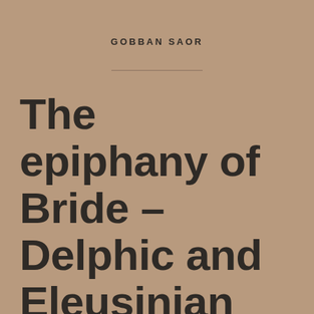GOBBAN SAOR
The epiphany of Bride – Delphic and Eleusinian aspects of the goddess Brigit